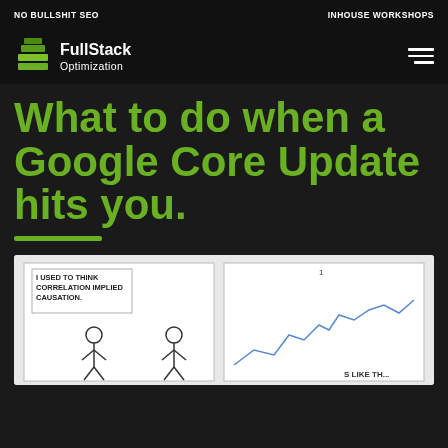NO BULLSHIT SEO    INHOUSE WORKSHOPS
[Figure (logo): FullStack Optimization logo with stacked green layers icon and white text]
What to do when a Google Core Update hits you.
[Figure (illustration): Cartoon comic strip showing a stick figure saying 'I used to think correlation implied causation.' with a line graph in the background and text 'S LIKE TH...']